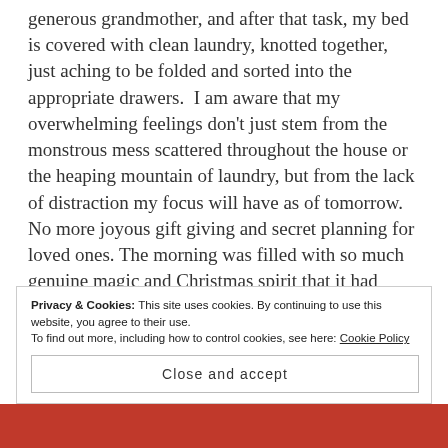generous grandmother, and after that task, my bed is covered with clean laundry, knotted together, just aching to be folded and sorted into the appropriate drawers.  I am aware that my overwhelming feelings don't just stem from the monstrous mess scattered throughout the house or the heaping mountain of laundry, but from the lack of distraction my focus will have as of tomorrow.  No more joyous gift giving and secret planning for loved ones. The morning was filled with so much genuine magic and Christmas spirit that it had brought a tear to three adults eyes. However, now I am back to reality.  Back
Privacy & Cookies: This site uses cookies. By continuing to use this website, you agree to their use.
To find out more, including how to control cookies, see here: Cookie Policy
Close and accept